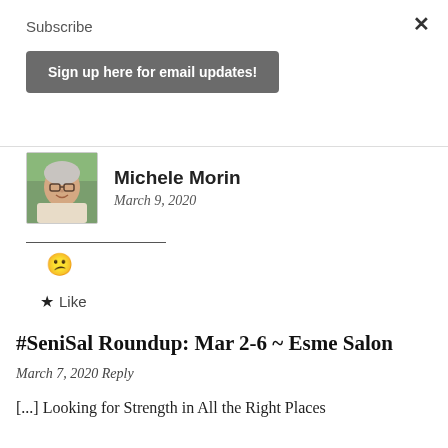×
Subscribe
Sign up here for email updates!
[Figure (photo): Author photo of Michele Morin, a woman with short gray hair and glasses, smiling, outdoors with greenery behind her]
Michele Morin
March 9, 2020
😕
★ Like
#SeniSal Roundup: Mar 2-6 ~ Esme Salon
March 7, 2020 Reply
[...] Looking for Strength in All the Right Places